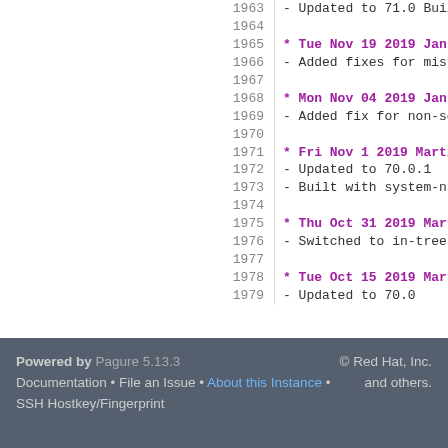1963  - Updated to 71.0 Build 2
1964
1965  * Tue Nov 19 2019 Jan Horak <jhorak@re
1966  - Added fixes for missing popup and ov
1967
1968  * Mon Nov 04 2019 Jan Horak <jhorak@re
1969  - Added fix for non-scrollable popups
1970
1971  * Fri Nov 1 2019 Martin Stransky <stra
1972  - Updated to 70.0.1
1973  - Built with system-nss (reverted 70.0
1974
1975  * Thu Oct 31 2019 Martin Stransky <str
1976  - Switched to in-tree nss due to rhbz#
1977
1978  * Tue Oct 15 2019 Martin Stransky <str
1979  - Updated to 70.0
Powered by Pagure 5.13.3 Documentation • File an Issue • About this Instance • SSH Hostkey/Fingerprint © Red Hat, Inc. and others.